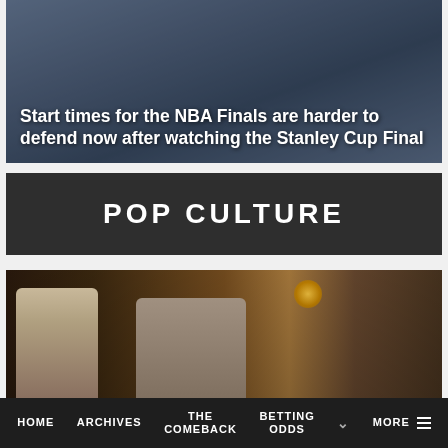[Figure (photo): Sports crowd photo with overlaid headline text about NBA Finals start times and Stanley Cup Final]
Start times for the NBA Finals are harder to defend now after watching the Stanley Cup Final
POP CULTURE
[Figure (photo): Movie scene with young man on left and older man in center seated at a table, warm dark interior setting]
HOME  ARCHIVES  THE COMEBACK  BETTING ODDS  MORE